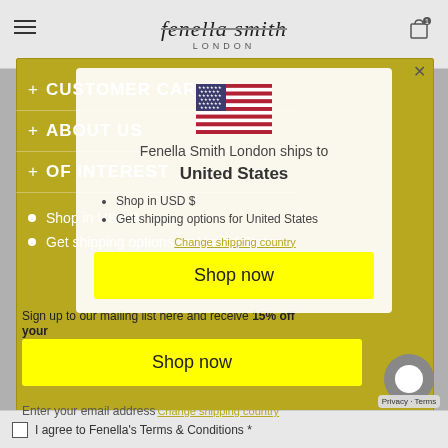fenella smith LONDON
[Figure (screenshot): Yellow navigation overlay panel showing website menu items: + CUSTOMER CARE, + ABOUT US, + OF INTEREST, with bullet points: Shop in USD $, Get shipping options for United States]
[Figure (infographic): Modal popup with US flag, text: Fenella Smith London ships to United States, bullet list: Shop in USD $, Get shipping options for United States, with yellow Shop now button and Change shipping country link]
Fenella Smith London ships to
United States
Shop in USD $
Get shipping options for United States
Sign up to our mailing list here and receive 15% off your
Shop now
Enter your email address Change shipping country
I agree to Fenella's Terms & Conditions *